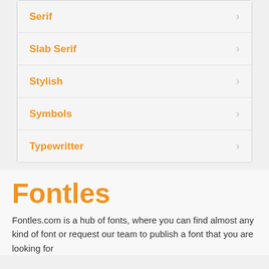Serif
Slab Serif
Stylish
Symbols
Typewritter
Fontles
Fontles.com is a hub of fonts, where you can find almost any kind of font or request our team to publish a font that you are looking for